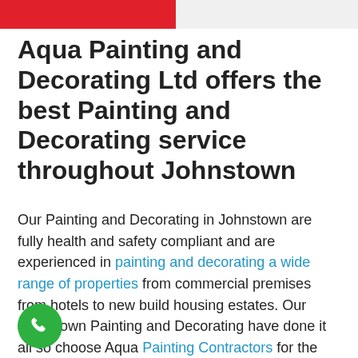[Figure (other): Red banner strip at top of page, partially visible]
Aqua Painting and Decorating Ltd offers the best Painting and Decorating service throughout Johnstown
Our Painting and Decorating in Johnstown are fully health and safety compliant and are experienced in painting and decorating a wide range of properties from commercial premises from hotels to new build housing estates. Our Johnstown Painting and Decorating have done it all so choose Aqua Painting Contractors for the best possible finish!
[Figure (other): Green circular phone call button at bottom left]